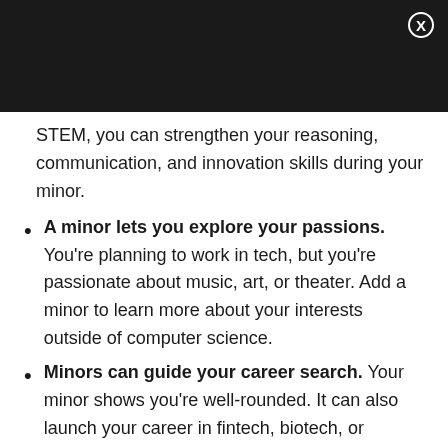STEM, you can strengthen your reasoning, communication, and innovation skills during your minor.
A minor lets you explore your passions. You're planning to work in tech, but you're passionate about music, art, or theater. Add a minor to learn more about your interests outside of computer science.
Minors can guide your career search. Your minor shows you're well-rounded. It can also launch your career in fintech, biotech, or another field where coursework outside of CS will help you.